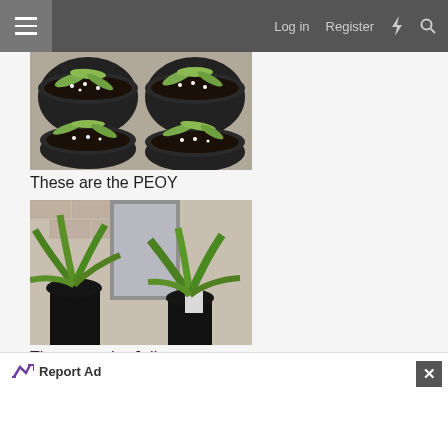Log in  Register
[Figure (photo): Overhead view of four black plant pots containing green plants with white pebbles on a brick surface]
These are the PEOY
[Figure (photo): Two green leafy plants in black pots on a shelf against a brick wall]
These are the Julius
[Figure (photo): Partial view of a green plant on a brick surface]
Report Ad